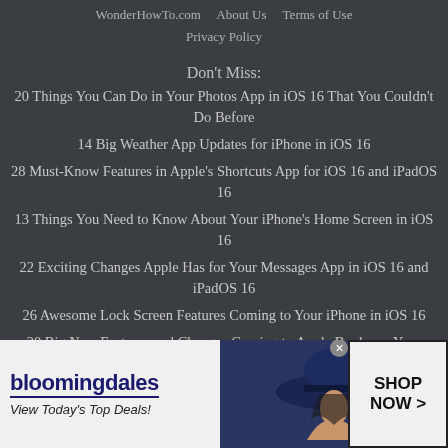WonderHowTo.com    About Us    Terms of Use
Privacy Policy
Don't Miss:
20 Things You Can Do in Your Photos App in iOS 16 That You Couldn't Do Before
14 Big Weather App Updates for iPhone in iOS 16
28 Must-Know Features in Apple's Shortcuts App for iOS 16 and iPadOS 16
13 Things You Need to Know About Your iPhone's Home Screen in iOS 16
22 Exciting Changes Apple Has for Your Messages App in iOS 16 and iPadOS 16
26 Awesome Lock Screen Features Coming to Your iPhone in iOS 16
20 Big New Features and Changes Coming to Apple Books on Your iPhone
[Figure (infographic): Bloomingdale's advertisement banner: logo, 'View Today's Top Deals!', woman with wide-brim navy hat, 'SHOP NOW >' button]